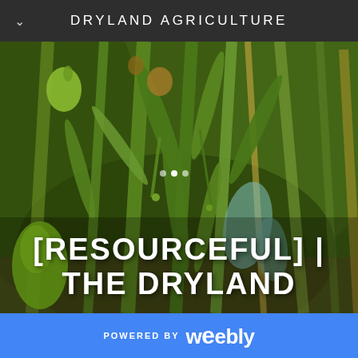DRYLAND AGRICULTURE
[Figure (photo): Close-up photograph of green dryland crop plants with stems, leaves, and seed pods against a blurred natural background. Various shades of green with brown and yellow elements visible.]
[RESOURCEFUL] | THE DRYLAND
POWERED BY weebly